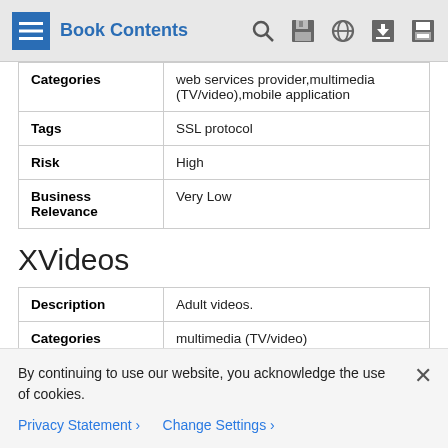Book Contents
| Categories | web services provider,multimedia (TV/video),mobile application |
| Tags | SSL protocol |
| Risk | High |
| Business Relevance | Very Low |
XVideos
| Description | Adult videos. |
| Categories | multimedia (TV/video) |
By continuing to use our website, you acknowledge the use of cookies.
Privacy Statement > Change Settings >